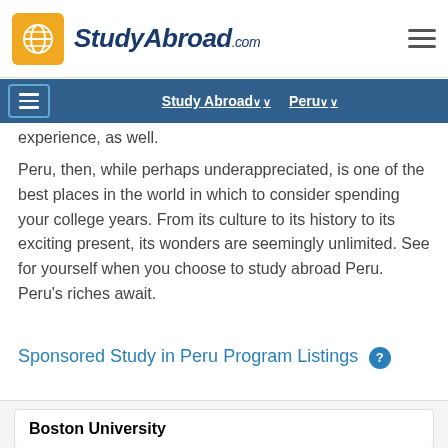StudyAbroad.com
Study Abroad ∨   Peru ∨
experience, as well.
Peru, then, while perhaps underappreciated, is one of the best places in the world in which to consider spending your college years. From its culture to its history to its exciting present, its wonders are seemingly unlimited. See for yourself when you choose to study abroad Peru. Peru's riches await.
Sponsored Study in Peru Program Listings
Boston University